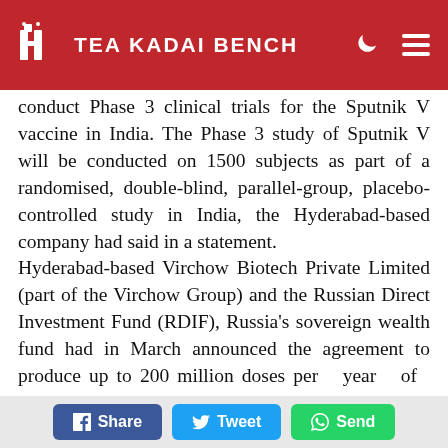Tea Kadai Bench
conduct Phase 3 clinical trials for the Sputnik V vaccine in India. The Phase 3 study of Sputnik V will be conducted on 1500 subjects as part of a randomised, double-blind, parallel-group, placebo-controlled study in India, the Hyderabad-based company had said in a statement. Hyderabad-based Virchow Biotech Private Limited (part of the Virchow Group) and the Russian Direct Investment Fund (RDIF), Russia’s sovereign wealth fund had in March announced the agreement to produce up to 200 million doses per year of Sputnik V vaccine against
Share  Tweet  Send